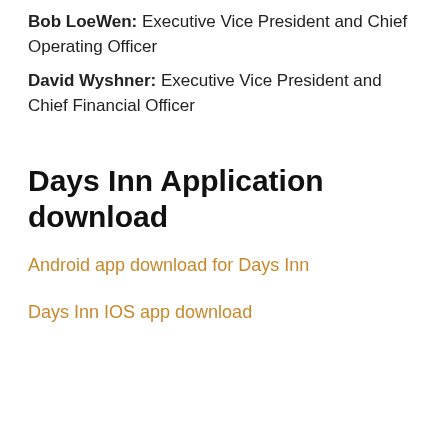Bob LoeWen: Executive Vice President and Chief Operating Officer
David Wyshner: Executive Vice President and Chief Financial Officer
Days Inn Application download
Android app download for Days Inn
Days Inn IOS app download